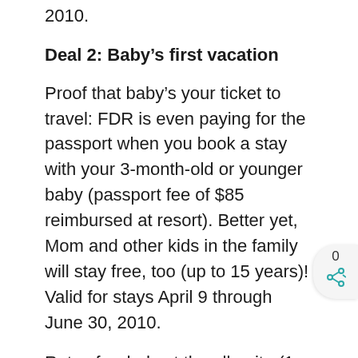2010.
Deal 2: Baby's first vacation
Proof that baby's your ticket to travel: FDR is even paying for the passport when you book a stay with your 3-month-old or younger baby (passport fee of $85 reimbursed at resort). Better yet, Mom and other kids in the family will stay free, too (up to 15 years)! Valid for stays April 9 through June 30, 2010.
Rates for dads at the all-suite (1 BR or bigger) all-inclusive Franklyn D. Resort & Spa start at $310. Rates for dads at the all-junior suite (or combined suites) FDR Pebbles resort start at $230 per